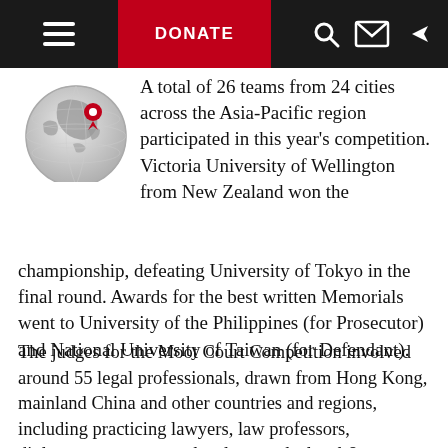DONATE
[Figure (illustration): Globe illustration with a red location pin marker placed over the Asia-Pacific region]
A total of 26 teams from 24 cities across the Asia-Pacific region participated in this year's competition. Victoria University of Wellington from New Zealand won the championship, defeating University of Tokyo in the final round. Awards for the best written Memorials went to University of the Philippines (for Prosecutor) and National University of Taiwan (for Defendant).
The judges for the Moot Court Competition involved around 55 legal professionals, drawn from Hong Kong, mainland China and other countries and regions, including practicing lawyers, law professors, diplomats, government legal counsels, local & international judges and ICRC legal experts.